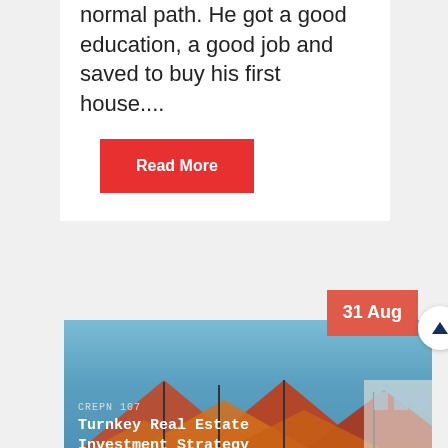normal path. He got a good education, a good job and saved to buy his first house....
Read More
[Figure (photo): Podcast cover image showing orange/terracotta patio umbrellas against a blue sky background, with overlay text: CREPN 107, Turnkey Real Estate Investment Strategy, with John Larson]